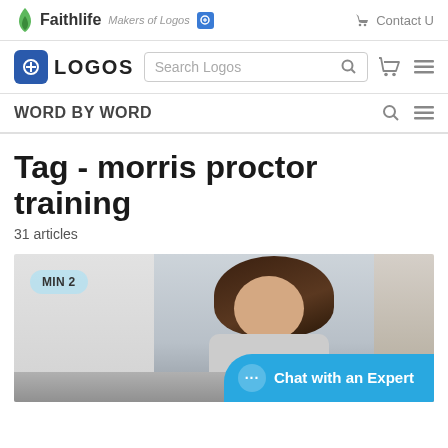Faithlife Makers of Logos | Contact Us
LOGOS Search Logos
WORD BY WORD
Tag - morris proctor training
31 articles
[Figure (photo): Woman looking down at a laptop, seated at a desk with a white brick wall in the background. A badge in the top-left reads MIN 2.]
Chat with an Expert